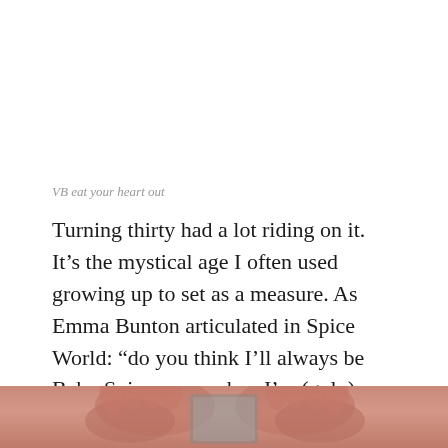VB eat your heart out
Turning thirty had a lot riding on it. It’s the mystical age I often used growing up to set as a measure. As Emma Bunton articulated in Spice World: “do you think I’ll always be Baby Spice, even when I’m (gulp) thirty?” It would also firmly put in me in the “Overs” category of the old X Factor format. “Overs”…how rude is that?
[Figure (photo): Partial view of hands holding something, photo cropped at bottom of page, warm pinkish-red tones]